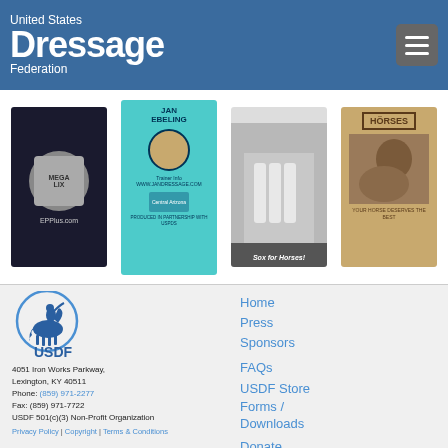United States Dressage Federation
[Figure (screenshot): Sponsor/advertisement images row: product bucket image, Jan Ebeling dressage promo on cyan background with website, Sox for Horses horse legs image, Horses magazine advertisement]
[Figure (logo): USDF logo - blue horse and rider silhouette in circle with USDF text below]
4051 Iron Works Parkway, Lexington, KY 40511
Phone: (859) 971-2277
Fax: (859) 971-7722
USDF 501(c)(3) Non-Profit Organization
Privacy Policy | Copyright | Terms & Conditions
Home
Press
Sponsors
FAQs
USDF Store
Forms / Downloads
Donate
Questions/Feedback
Contact